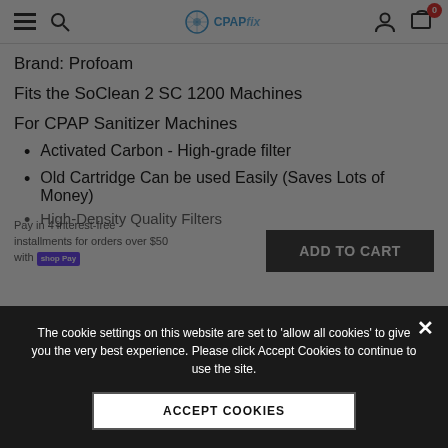CPAP Fix — navigation header with hamburger, search, logo, user icon, cart (0)
Brand: Profoam
Fits the SoClean 2 SC 1200 Machines
For CPAP Sanitizer Machines
Activated Carbon - High-grade filter
Old Cartridge Can be used Easily (Saves Lots of Money)
High-Density Quality Filters
Pay in 4 interest-free installments for orders over $50 with shop Pay
ADD TO CART
The cookie settings on this website are set to 'allow all cookies' to give you the very best experience. Please click Accept Cookies to continue to use the site.
ACCEPT COOKIES